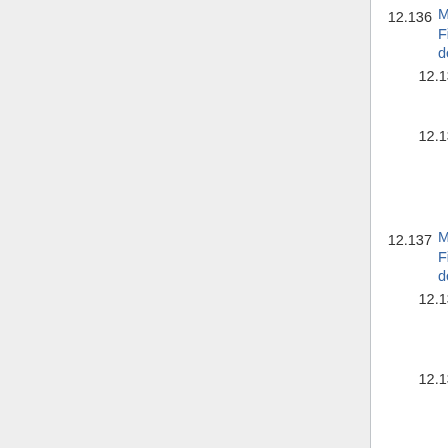12.136  M206: Firmware dependent
12.136.1  M206: Offset axes
12.136.2  M206 (Repetier): Set EEPROM value
12.137  M207: Firmware dependent
12.137.1  M207: Set retract length
12.137.2  M207 Calibrate Z axis with Z max endstop
12.137.3  M207 (Repetier): Set jerk without saving to EEPROM
12.138  M208: Firmware dependent
12.138.1  M208: Set unretract length
12.138.2  M208 (RepRapFirmware): Set axis max travel
12.139  M209: Enable automatic